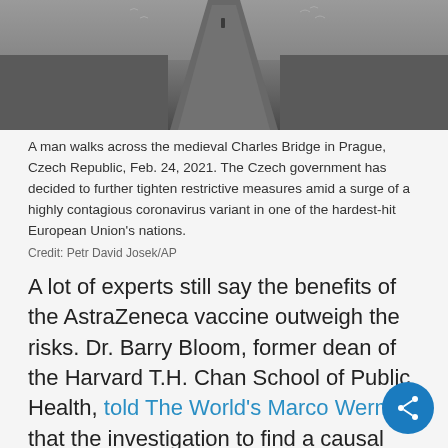[Figure (photo): A man walks across the medieval Charles Bridge in Prague, Czech Republic, with birds and a lone figure visible in the distance on a grey overcast day.]
A man walks across the medieval Charles Bridge in Prague, Czech Republic, Feb. 24, 2021. The Czech government has decided to further tighten restrictive measures amid a surge of a highly contagious coronavirus variant in one of the hardest-hit European Union's nations.
Credit: Petr David Josek/AP
A lot of experts still say the benefits of the AstraZeneca vaccine outweigh the risks. Dr. Barry Bloom, former dean of the Harvard T.H. Chan School of Public Health, told The World's Marco Werman that the investigation to find a causal link between the AstraZeneca jab and blood will be challenging.